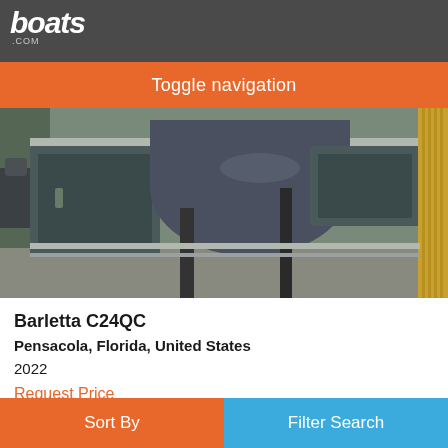boats.com
Toggle navigation
[Figure (photo): Photo of a Barletta C24QC pontoon boat stored indoors, showing the front/bow area with dark enclosure panels and aluminum structure.]
Barletta C24QC
Pensacola, Florida, United States
2022
Request Price
Seller Legendary Marine Pensacola
Sort By
Filter Search